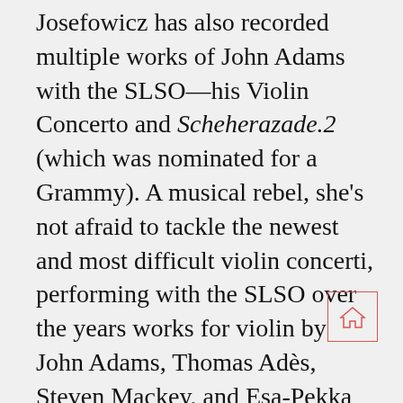Josefowicz has also recorded multiple works of John Adams with the SLSO—his Violin Concerto and Scheherazade.2 (which was nominated for a Grammy). A musical rebel, she's not afraid to tackle the newest and most difficult violin concerti, performing with the SLSO over the years works for violin by John Adams, Thomas Adès, Steven Mackey, and Esa-Pekka Salonen. This season, she teams up with conductor Jun Märkl on a program about musical discovery. This time, the Grammy-nominated violinist will perform the U.S. premiere of a new violin concerto by Scottish composer Helen Grime on October 30-November 1, 2020.